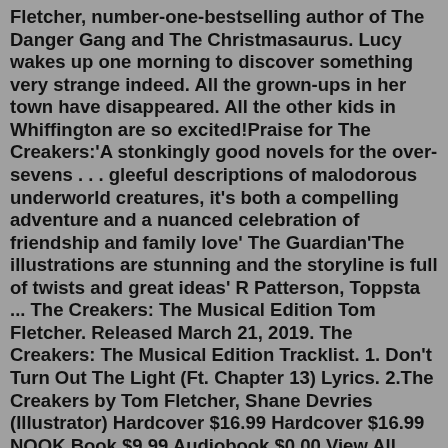Fletcher, number-one-bestselling author of The Danger Gang and The Christmasaurus. Lucy wakes up one morning to discover something very strange indeed. All the grown-ups in her town have disappeared. All the other kids in Whiffington are so excited!Praise for The Creakers:'A stonkingly good novels for the over-sevens . . . gleeful descriptions of malodorous underworld creatures, it's both a compelling adventure and a nuanced celebration of friendship and family love' The Guardian'The illustrations are stunning and the storyline is full of twists and great ideas' R Patterson, Toppsta ... The Creakers: The Musical Edition Tom Fletcher. Released March 21, 2019. The Creakers: The Musical Edition Tracklist. 1. Don't Turn Out The Light (Ft. Chapter 13) Lyrics. 2.The Creakers by Tom Fletcher, Shane Devries (Illustrator) Hardcover $16.99 Hardcover $16.99 NOOK Book $9.99 Audiobook $0.00 View All Available Formats & Editions Ship This Item — Qualifies for Free Shipping Buy Online, Pick up in Store Check Availability at Nearby Stores